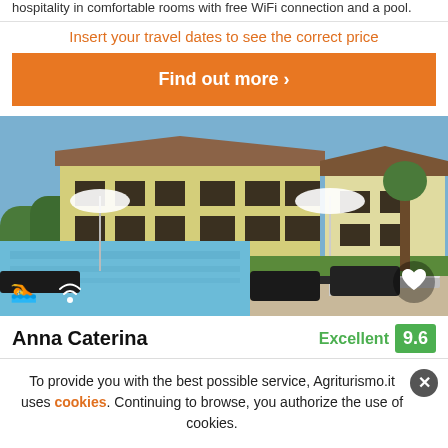hospitality in comfortable rooms with free WiFi connection and a pool.
Insert your travel dates to see the correct price
Find out more >
[Figure (photo): Outdoor swimming pool area with lounge chairs and a large yellow farmhouse building in the background on a sunny day. White umbrellas and green lawn visible. Pool icons and WiFi icon overlay on bottom left, heart icon on bottom right.]
Anna Caterina
Excellent 9.6
To provide you with the best possible service, Agriturismo.it uses cookies. Continuing to browse, you authorize the use of cookies.